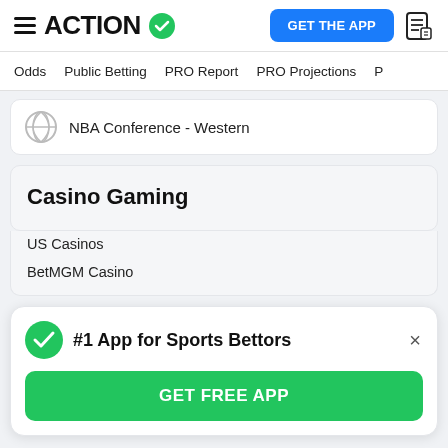ACTION — GET THE APP
Odds   Public Betting   PRO Report   PRO Projections
NBA Conference - Western
Casino Gaming
US Casinos
BetMGM Casino
#1 App for Sports Bettors
GET FREE APP